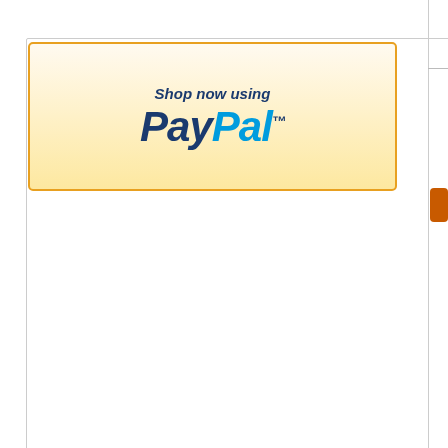[Figure (logo): PayPal 'Shop now using PayPal' button with orange/gold border and gradient background]
Port Designs Smiley Series Reversi... - th...
[Figure (other): Quick checkout orange button (partially visible)]
Mor...
* We always endeavour to ship orders the same working day that... However if in the unlikely event of any complications we will co... Working days are Mon to Fri
[Figure (other): Orange and navy horizontal band dividers]
[Figure (logo): PayPal payment icon and card payment icons (Delta, Maestro, MasterCard, Visa Electron, Visa, purple card) in footer]
home | basket | checkout | my accour...
Copyr...